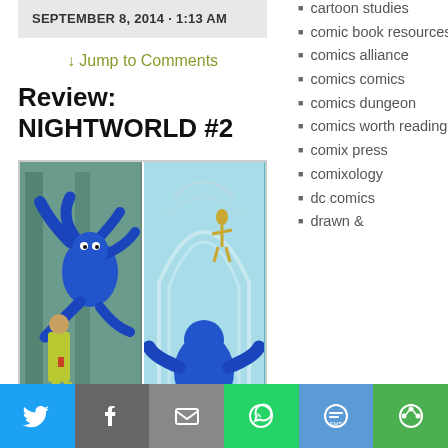SEPTEMBER 8, 2014 · 1:13 AM
↓ Jump to Comments
Review: NIGHTWORLD #2
[Figure (illustration): Two comic book panels side by side: left panel shows a blue multi-limbed creature attacking a figure in yellow-green clothing in a teal environment; right panel shows a blue creature from behind in a white arched space with a small figure above.]
cartoon studies
comic book resources
comics alliance
comics comics
comics dungeon
comics worth reading
comix press
comixology
dc comics
drawn &
[Figure (infographic): Social sharing bar with Twitter, Facebook, Email, WhatsApp, SMS, and other share buttons]